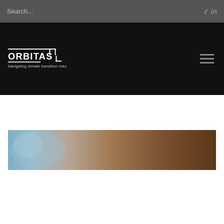Search...
[Figure (logo): Orbitas logo with text 'Navigating climate transition risks']
[Figure (photo): Hero image showing a close-up of what appears to be an animal (possibly sheep or bison) with blue/grey tones on the left and brown fur on the right]